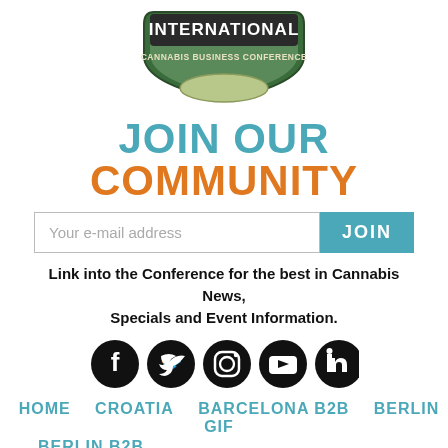[Figure (logo): International Cannabis Business Conference badge/shield logo with text INTERNATIONAL and CANNABIS BUSINESS CONFERENCE]
JOIN OUR COMMUNITY
[Figure (other): Email input field with placeholder 'Your e-mail address' and a teal JOIN button]
Link into the Conference for the best in Cannabis News, Specials and Event Information.
[Figure (other): Social media icons: Facebook, Twitter, Instagram, YouTube, LinkedIn]
HOME   CROATIA   BARCELONA B2B   BERLIN GIF   BERLIN B2B
TICKETS   EXHIBIT   MEDIA   NEWS   CONTACT